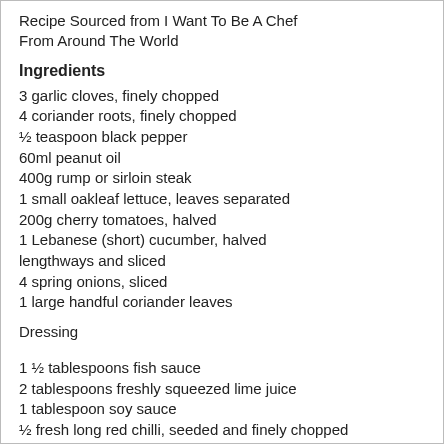Recipe Sourced from I Want To Be A Chef From Around The World
Ingredients
3 garlic cloves, finely chopped
4 coriander roots, finely chopped
½ teaspoon black pepper
60ml peanut oil
400g rump or sirloin steak
1 small oakleaf lettuce, leaves separated
200g cherry tomatoes, halved
1 Lebanese (short) cucumber, halved lengthways and sliced
4 spring onions, sliced
1 large handful coriander leaves
Dressing
1 ½ tablespoons fish sauce
2 tablespoons freshly squeezed lime juice
1 tablespoon soy sauce
½ fresh long red chilli, seeded and finely chopped
2 teaspoons soft brown sugar (or finely grated palm sugar)